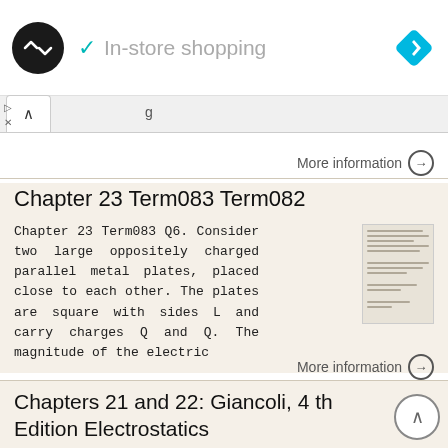[Figure (screenshot): App top bar with logo circle, In-store shopping text with checkmark, and navigation diamond icon]
In-store shopping
More information →
Chapter 23 Term083 Term082
Chapter 23 Term083 Q6. Consider two large oppositely charged parallel metal plates, placed close to each other. The plates are square with sides L and carry charges Q and Q. The magnitude of the electric
More information →
Chapters 21 and 22: Giancoli, 4 th Edition Electrostatics